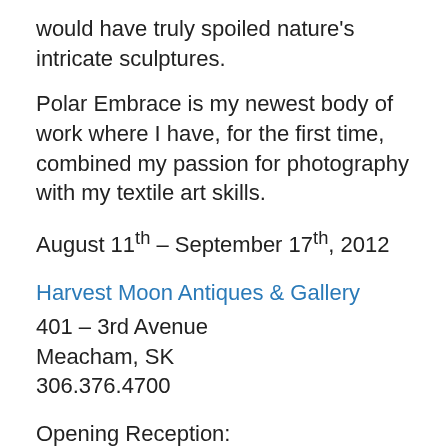would have truly spoiled nature's intricate sculptures.
Polar Embrace is my newest body of work where I have, for the first time, combined my passion for photography with my textile art skills.
August 11th – September 17th, 2012
Harvest Moon Antiques & Gallery
401 – 3rd Avenue
Meacham, SK
306.376.4700
Opening Reception:
Sunday, August 12th, 2012  from 2- 4 pm
Looking forward to seeing you there! Bring friends and family… and stay a while! If you are traveling through the